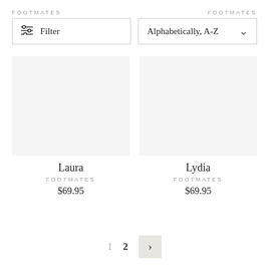FOOTMATES
FOOTMATES
Filter
Alphabetically, A-Z
[Figure (photo): Product image placeholder for Laura shoe]
[Figure (photo): Product image placeholder for Lydia shoe]
Laura
FOOTMATES
$69.95
Lydia
FOOTMATES
$69.95
1  2  >